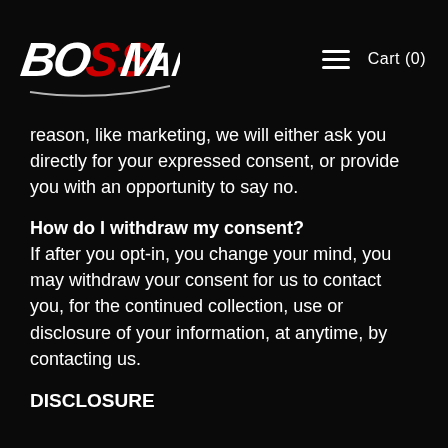BOSSMAN logo | Cart (0)
reason, like marketing, we will either ask you directly for your expressed consent, or provide you with an opportunity to say no.
How do I withdraw my consent?
If after you opt-in, you change your mind, you may withdraw your consent for us to contact you, for the continued collection, use or disclosure of your information, at anytime, by contacting us.
DISCLOSURE